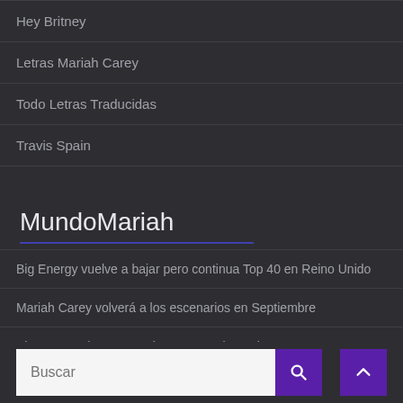Hey Britney
Letras Mariah Carey
Todo Letras Traducidas
Travis Spain
MundoMariah
Big Energy vuelve a bajar pero continua Top 40 en Reino Unido
Mariah Carey volverá a los escenarios en Septiembre
Big Energy sigue cayendo pero mantiene el Top 40 en UK